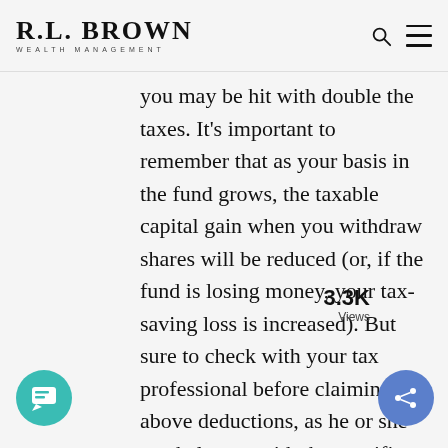R.L. BROWN WEALTH MANAGEMENT
you may be hit with double the taxes. It's important to remember that as your basis in the fund grows, the taxable capital gain when you withdraw shares will be reduced (or, if the fund is losing money, your tax-saving loss is increased). But sure to check with your tax professional before claiming the above deductions, as he or she can help you with the specifics according to your situation.
3.3K Views